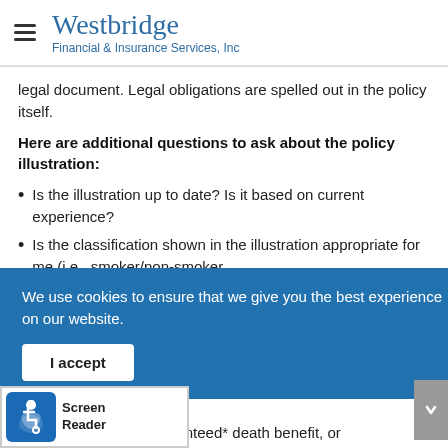Westbridge Financial & Insurance Services, Inc
legal document. Legal obligations are spelled out in the policy itself.
Here are additional questions to ask about the policy illustration:
Is the illustration up to date? Is it based on current experience?
Is the classification shown in the illustration appropriate for me (i.e., smoker/non-smoker,
We use cookies to ensure that we give you the best experience on our website.
I accept
s the policy have a guaranteed* death benefit, or